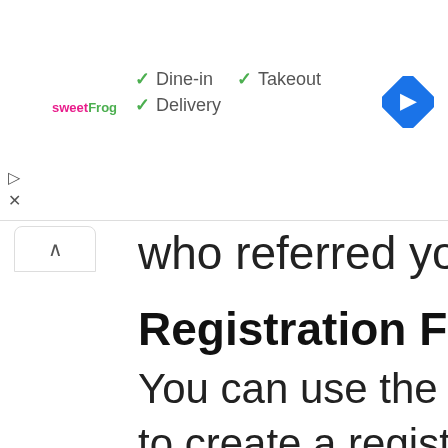[Figure (screenshot): Browser UI overlay showing sweetFrog logo with dine-in, takeout, delivery options and a blue navigation diamond icon]
who referred you to
Registration Form
You can use the que to create a registrat classes or sessions